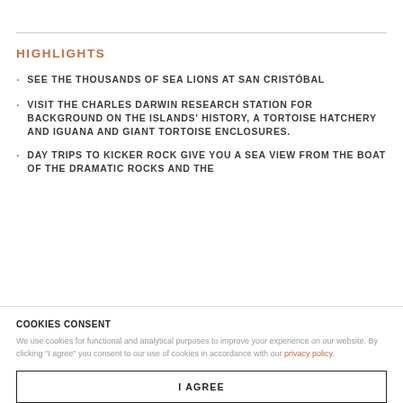HIGHLIGHTS
SEE THE THOUSANDS OF SEA LIONS AT SAN CRISTÓBAL
VISIT THE CHARLES DARWIN RESEARCH STATION FOR BACKGROUND ON THE ISLANDS' HISTORY, A TORTOISE HATCHERY AND IGUANA AND GIANT TORTOISE ENCLOSURES.
DAY TRIPS TO KICKER ROCK GIVE YOU A SEA VIEW FROM THE BOAT OF THE DRAMATIC ROCKS AND THE
COOKIES CONSENT
We use cookies for functional and analytical purposes to improve your experience on our website. By clicking "I agree" you consent to our use of cookies in accordance with our privacy policy.
I AGREE